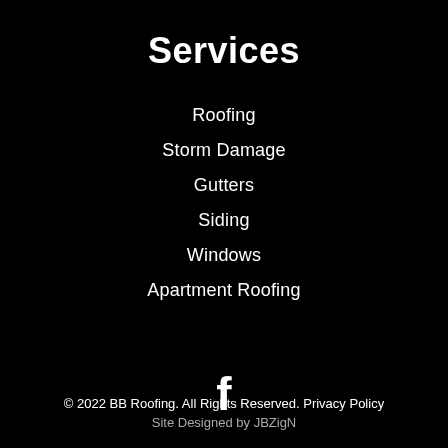Services
Roofing
Storm Damage
Gutters
Siding
Windows
Apartment Roofing
[Figure (logo): Facebook logo icon in white on black background]
© 2022 BB Roofing. All Rights Reserved. Privacy Policy
Site Designed by JBZigN